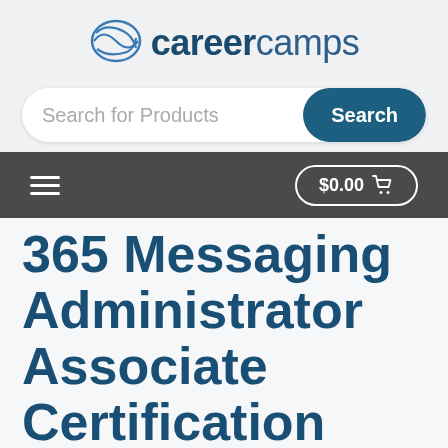[Figure (logo): Career Camps logo with stylized globe icon and text 'careercamps']
Search for Products
Search
$0.00 🛒
365 Messaging Administrator Associate Certification Camp
$2,995.00